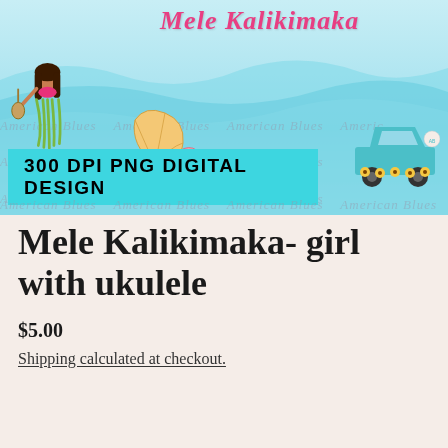[Figure (illustration): Product listing image showing a Hawaiian/tropical themed digital design: a hula girl holding a ukulele on the left, large cursive 'Mele Kalikimaka' text in pink at top, ocean wave background in teal/blue, seashells in center, a teal vintage truck with sunflowers in bottom right, and a cyan banner reading '300 DPI PNG DIGITAL DESIGN'. Watermark text 'American Blues' repeats across the image.]
Mele Kalikimaka- girl with ukulele
$5.00
Shipping calculated at checkout.